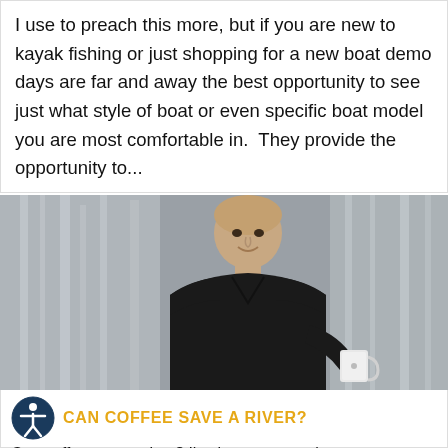I use to preach this more, but if you are new to kayak fishing or just shopping for a new boat demo days are far and away the best opportunity to see just what style of boat or even specific boat model you are most comfortable in.  They provide the opportunity to...
[Figure (photo): A man in a black shirt holding a white mug, standing outdoors in front of a waterfall with blurred background]
CAN COFFEE SAVE A RIVER?
Can coffee save a river?  I've been extremely